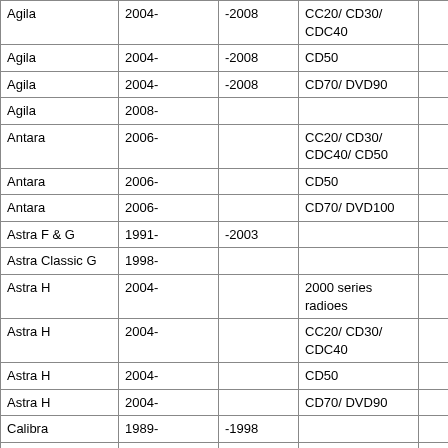| Model | From | To | Radio |  |
| --- | --- | --- | --- | --- |
| Agila | 2004- | -2008 | CC20/ CD30/ CDC40 |  |
| Agila | 2004- | -2008 | CD50 |  |
| Agila | 2004- | -2008 | CD70/ DVD90 |  |
| Agila | 2008- |  |  |  |
| Antara | 2006- |  | CC20/ CD30/ CDC40/ CD50 |  |
| Antara | 2006- |  | CD50 |  |
| Antara | 2006- |  | CD70/ DVD100 |  |
| Astra F & G | 1991- | -2003 |  |  |
| Astra Classic G | 1998- |  |  |  |
| Astra H | 2004- |  | 2000 series radioes |  |
| Astra H | 2004- |  | CC20/ CD30/ CDC40 |  |
| Astra H | 2004- |  | CD50 |  |
| Astra H | 2004- |  | CD70/ DVD90 |  |
| Calibra | 1989- | -1998 |  |  |
| Campo | 1992- | -1996 |  |  |